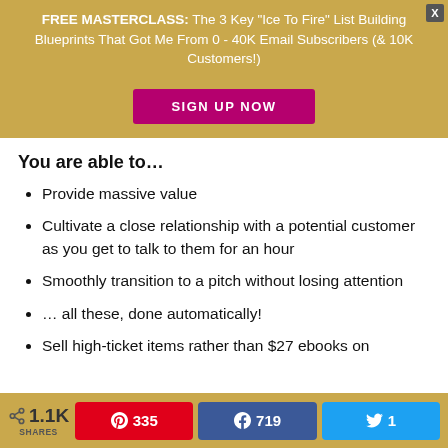FREE MASTERCLASS: The 3 Key "Ice To Fire" List Building Blueprints That Got Me From 0 - 40K Email Subscribers (& 10K Customers!)
SIGN UP NOW
You are able to…
Provide massive value
Cultivate a close relationship with a potential customer as you get to talk to them for an hour
Smoothly transition to a pitch without losing attention
… all these, done automatically!
Sell high-ticket items rather than $27 ebooks on
1.1K SHARES  335  719  1